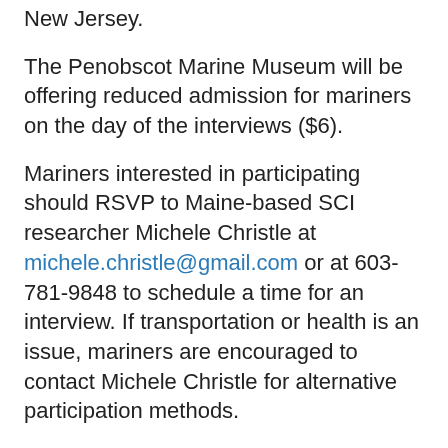New Jersey.
The Penobscot Marine Museum will be offering reduced admission for mariners on the day of the interviews ($6).
Mariners interested in participating should RSVP to Maine-based SCI researcher Michele Christle at michele.christle@gmail.com or at 603-781-9848 to schedule a time for an interview. If transportation or health is an issue, mariners are encouraged to contact Michele Christle for alternative participation methods.
For more information about this event, please contact:
Michele Christle: